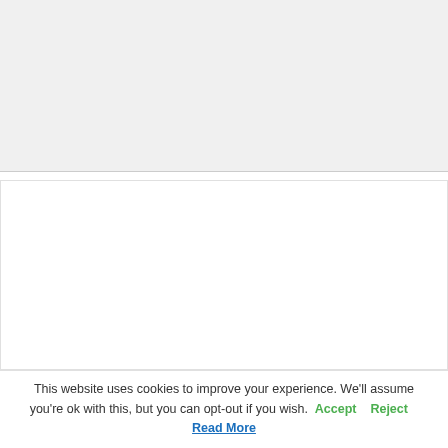[Figure (other): Gray blank panel area at top of page]
[Figure (logo): Education logo with graduation cap (mortarboard) in black sitting on top of a blue laptop/screen outline containing the letters IG in bold blue]
This website uses cookies to improve your experience. We'll assume you're ok with this, but you can opt-out if you wish. Accept Reject Read More